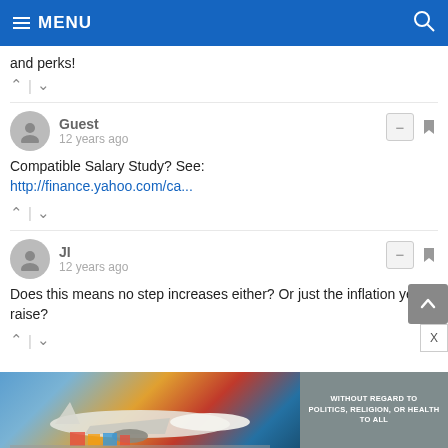MENU
and perks!
Guest
12 years ago
Compatible Salary Study? See:
http://finance.yahoo.com/ca...
JI
12 years ago
Does this means no step increases either? Or just the inflation yearly raise?
[Figure (photo): Advertisement banner showing an airplane being loaded with cargo, with text 'WITHOUT REGARD TO POLITICS, RELIGION, OR HEALTH TO ALL']